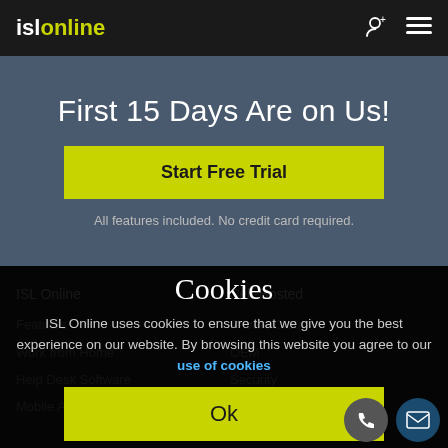islonline
First 15 Days Are on Us!
Start Free Trial
All features included. No credit card required.
Cookies
ISL Online uses cookies to ensure that we give you the best experience on our website. By browsing this website you agree to our use of cookies
Ok
Manage Settings
ISL Online
Features
Work from Home
Help Desk Software
Mobile Apps
Self-Hosted
private Cloud
OEM
Security